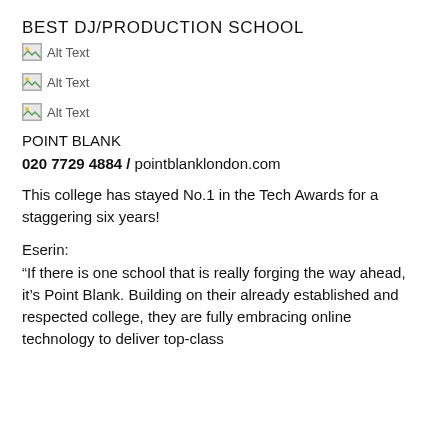BEST DJ/PRODUCTION SCHOOL
[Figure (other): Broken image placeholder labelled Alt Text]
[Figure (other): Broken image placeholder labelled Alt Text]
[Figure (other): Broken image placeholder labelled Alt Text]
POINT BLANK
020 7729 4884 / pointblanklondon.com
This college has stayed No.1 in the Tech Awards for a staggering six years!
Eserin:
“If there is one school that is really forging the way ahead, it’s Point Blank. Building on their already established and respected college, they are fully embracing online technology to deliver top-class